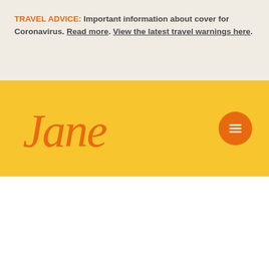TRAVEL ADVICE: Important information about cover for Coronavirus. Read more. View the latest travel warnings here.
[Figure (logo): Jane insurance brand logo in orange cursive script on yellow background, with orange circular hamburger menu button on right]